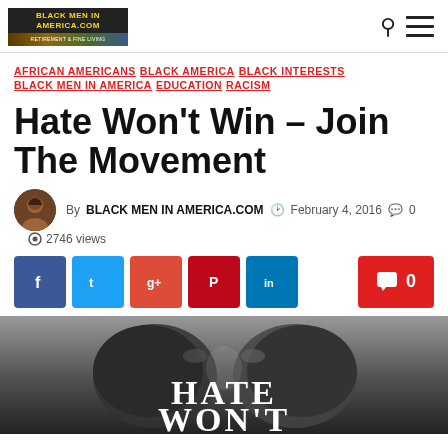BLACK MEN IN AMERICA.COM
AFRICAN AMERICANS   BLACK AMERICA   BLACK INTERESTS   BLACK MEN IN AMERICA   EDUCATION   RACISM
Hate Won't Win – Join The Movement
By BLACK MEN IN AMERICA.COM  February 4, 2016  0  2746 views
[Figure (photo): Hands forming a heart shape with text HATE WON'T below]
HATE WON'T